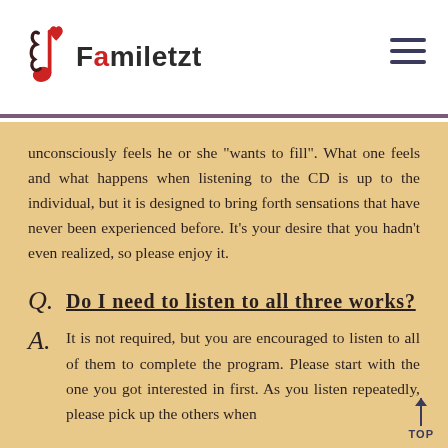Familetzt
unconsciously feels he or she "wants to fill". What one feels and what happens when listening to the CD is up to the individual, but it is designed to bring forth sensations that have never been experienced before. It's your desire that you hadn't even realized, so please enjoy it.
Q. Do I need to listen to all three works?
A. It is not required, but you are encouraged to listen to all of them to complete the program. Please start with the one you got interested in first. As you listen repeatedly, please pick up the others when